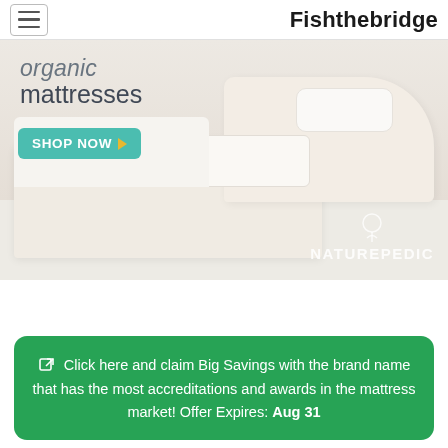Fishthebridge
[Figure (photo): Advertisement image for Naturepedic organic mattresses showing a white bed frame with mattress and pillow in a bright room. Text overlays read 'organic mattresses' with a teal 'SHOP NOW' button with arrow. Naturepedic logo with leaf/plant icon appears in lower right.]
Click here and claim Big Savings with the brand name that has the most accreditations and awards in the mattress market! Offer Expires: Aug 31